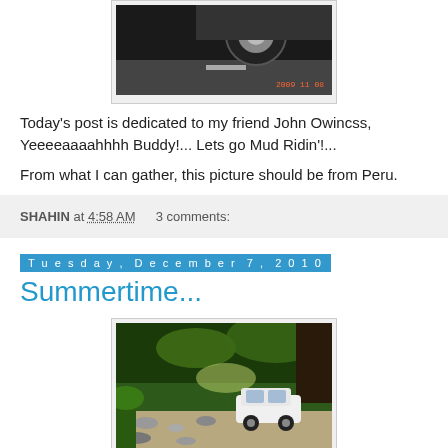[Figure (photo): Top portion of a vehicle on a road, partial view showing wheels/undercarriage, with an orange date stamp in the lower right corner (2009 or similar)]
Today's post is dedicated to my friend John Owincss, Yeeeeaaaahhhh Buddy!... Lets go Mud Ridin'!...
From what I can gather, this picture should be from Peru.
SHAHIN at 4:58 AM    3 comments:
Tuesday, December 7, 2010
Summertime...
[Figure (photo): A white car on a rocky riverbed or trail surrounded by lush green trees and foliage]